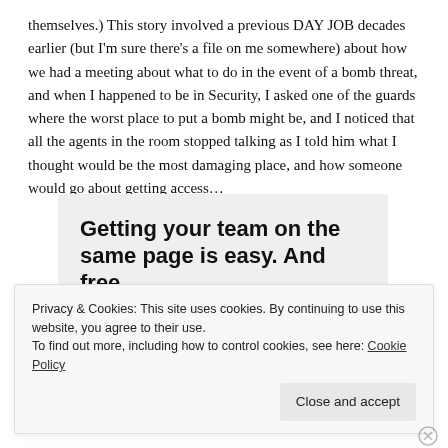themselves.) This story involved a previous DAY JOB decades earlier (but I'm sure there's a file on me somewhere) about how we had a meeting about what to do in the event of a bomb threat, and when I happened to be in Security, I asked one of the guards where the worst place to put a bomb might be, and I noticed that all the agents in the room stopped talking as I told him what I thought would be the most damaging place, and how someone would go about getting access…
[Figure (infographic): Advertisement box with text 'Getting your team on the same page is easy. And free.' with three circular avatar photos and a blue plus button.]
Privacy & Cookies: This site uses cookies. By continuing to use this website, you agree to their use.
To find out more, including how to control cookies, see here: Cookie Policy
Close and accept